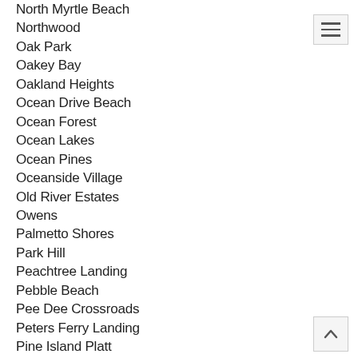North Myrtle Beach
Northwood
Oak Park
Oakey Bay
Oakland Heights
Ocean Drive Beach
Ocean Forest
Ocean Lakes
Ocean Pines
Oceanside Village
Old River Estates
Owens
Palmetto Shores
Park Hill
Peachtree Landing
Pebble Beach
Pee Dee Crossroads
Peters Ferry Landing
Pine Island Platt
Pine Lake Estates
Pine Valley Estates
Pinelands
Pinewood
Pinewood Acres